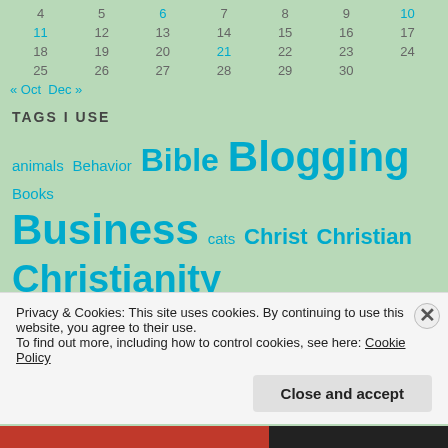| 4 | 5 | 6 | 7 | 8 | 9 | 10 |
| 11 | 12 | 13 | 14 | 15 | 16 | 17 |
| 18 | 19 | 20 | 21 | 22 | 23 | 24 |
| 25 | 26 | 27 | 28 | 29 | 30 |  |
« Oct   Dec »
TAGS I USE
animals Behavior Bible Blogging Books Business cats Christ Christian Christianity Christmas church Culture Easter Economy
Privacy & Cookies: This site uses cookies. By continuing to use this website, you agree to their use.
To find out more, including how to control cookies, see here: Cookie Policy
Close and accept